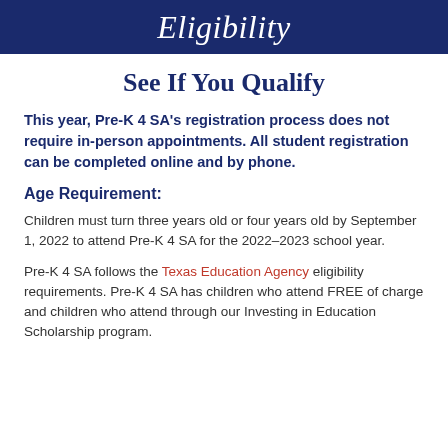Eligibility
See If You Qualify
This year, Pre-K 4 SA's registration process does not require in-person appointments. All student registration can be completed online and by phone.
Age Requirement:
Children must turn three years old or four years old by September 1, 2022 to attend Pre-K 4 SA for the 2022–2023 school year.
Pre-K 4 SA follows the Texas Education Agency eligibility requirements. Pre-K 4 SA has children who attend FREE of charge and children who attend through our Investing in Education Scholarship program.